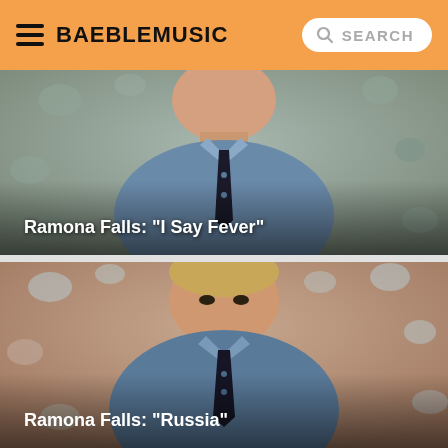BAEBLEMUSIC  SEARCH
[Figure (photo): Man in blue dress shirt and black tie photographed against a floral/textured background. Caption overlay reads: Ramona Falls: "I Say Fever"]
[Figure (photo): Man in blue dress shirt and black tie looking directly at camera against a floral/textured background. Caption overlay reads: Ramona Falls: "Russia"]